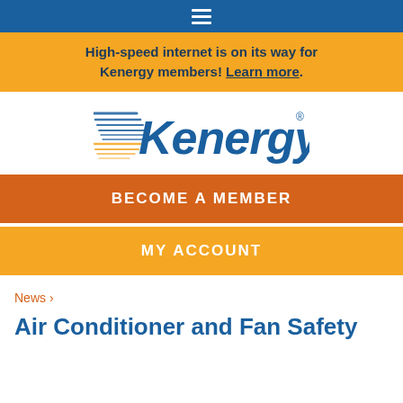≡
High-speed internet is on its way for Kenergy members! Learn more.
[Figure (logo): Kenergy logo with speed-line graphic and registered trademark symbol]
BECOME A MEMBER
MY ACCOUNT
News ›
Air Conditioner and Fan Safety